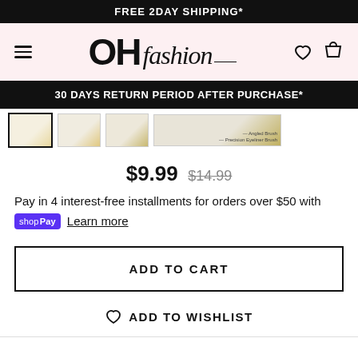FREE 2DAY SHIPPING*
[Figure (logo): OH fashion logo with hamburger menu, heart and cart icons on pink background]
30 DAYS RETURN PERIOD AFTER PURCHASE*
[Figure (photo): Product thumbnail images of makeup brushes]
$9.99 $14.99
Pay in 4 interest-free installments for orders over $50 with shop Pay Learn more
ADD TO CART
ADD TO WISHLIST